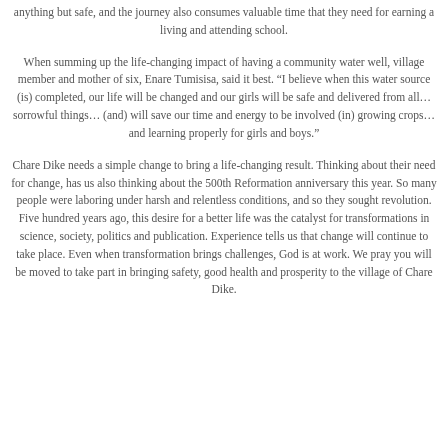anything but safe, and the journey also consumes valuable time that they need for earning a living and attending school.
When summing up the life-changing impact of having a community water well, village member and mother of six, Enare Tumisisa, said it best. “I believe when this water source (is) completed, our life will be changed and our girls will be safe and delivered from all…sorrowful things… (and) will save our time and energy to be involved (in) growing crops…and learning properly for girls and boys.”
Chare Dike needs a simple change to bring a life-changing result. Thinking about their need for change, has us also thinking about the 500th Reformation anniversary this year. So many people were laboring under harsh and relentless conditions, and so they sought revolution. Five hundred years ago, this desire for a better life was the catalyst for transformations in science, society, politics and publication. Experience tells us that change will continue to take place. Even when transformation brings challenges, God is at work. We pray you will be moved to take part in bringing safety, good health and prosperity to the village of Chare Dike.